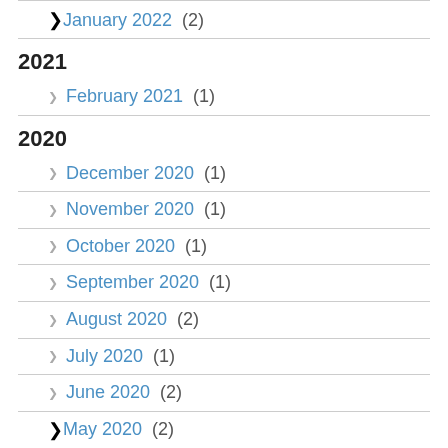January 2022 (2)
2021
February 2021 (1)
2020
December 2020 (1)
November 2020 (1)
October 2020 (1)
September 2020 (1)
August 2020 (2)
July 2020 (1)
June 2020 (2)
May 2020 (2)